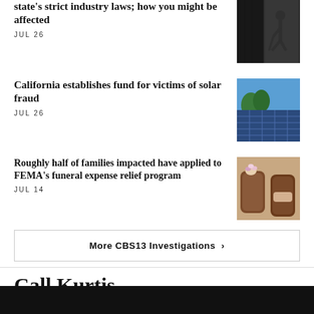state's strict industry laws; how you might be affected
JUL 26
California establishes fund for victims of solar fraud
JUL 26
Roughly half of families impacted have applied to FEMA's funeral expense relief program
JUL 14
More CBS13 Investigations ›
Call Kurtis